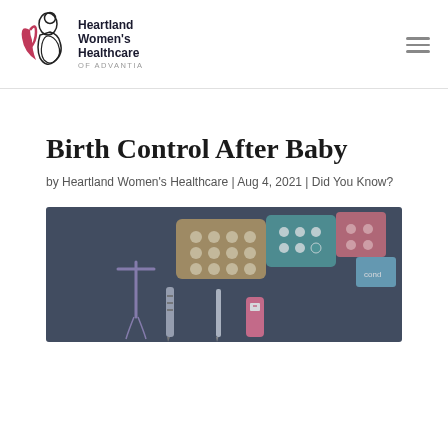[Figure (logo): Heartland Women's Healthcare of Advantia logo with stylized pregnant woman figure in pink/red and black text]
Birth Control After Baby
by Heartland Women's Healthcare | Aug 4, 2021 | Did You Know?
[Figure (photo): Overhead photo of various birth control methods on a dark blue/gray background, including pill packs, an IUD, syringe, and pregnancy test]